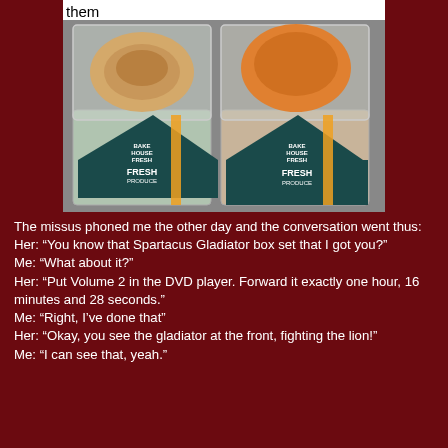[Figure (photo): Two packaged fresh produce items in clear plastic containers with 'FRESH PRODUCE' labels, showing what appear to be buns or bread rolls on top and lettuce/produce below, sold in transparent clamshell packaging.]
The missus phoned me the other day and the conversation went thus:
Her: “You know that Spartacus Gladiator box set that I got you?”
Me: “What about it?”
Her: “Put Volume 2 in the DVD player. Forward it exactly one hour, 16 minutes and 28 seconds.”
Me: “Right, I’ve done that”
Her: “Okay, you see the gladiator at the front, fighting the lion!”
Me: “I can see that, yeah.”